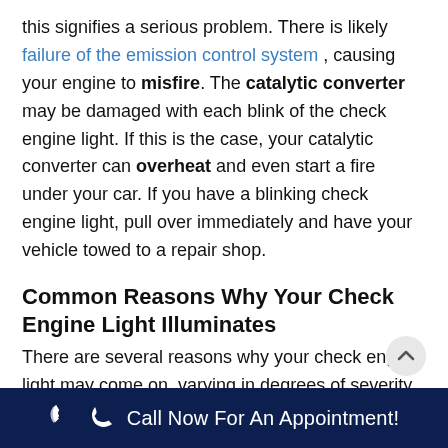this signifies a serious problem. There is likely failure of the emission control system , causing your engine to misfire. The catalytic converter may be damaged with each blink of the check engine light. If this is the case, your catalytic converter can overheat and even start a fire under your car. If you have a blinking check engine light, pull over immediately and have your vehicle towed to a repair shop.
Common Reasons Why Your Check Engine Light Illuminates
There are several reasons why your check engine light may come on, varying in degrees of severity and urgency:
Call Now For An Appointment!